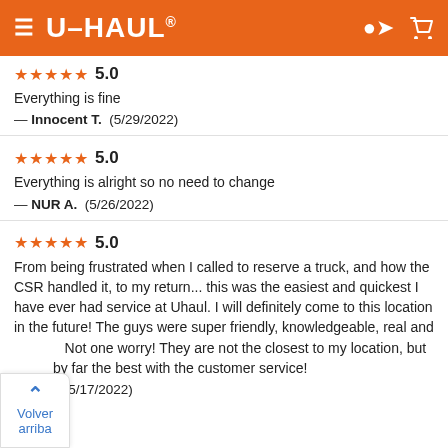U-HAUL
★★★★★ 5.0
Everything is fine
— Innocent T. (5/29/2022)
★★★★★ 5.0
Everything is alright so no need to change
— NUR A. (5/26/2022)
★★★★★ 5.0
From being frustrated when I called to reserve a truck, and how the CSR handled it, to my return... this was the easiest and quickest I have ever had service at Uhaul. I will definitely come to this location in the future! The guys were super friendly, knowledgeable, real and Not one worry! They are not the closest to my location, but by far the best with the customer service!
— A L. (5/17/2022)